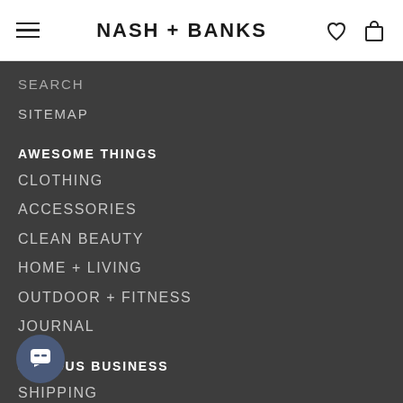NASH + BANKS
SEARCH
SITEMAP
AWESOME THINGS
CLOTHING
ACCESSORIES
CLEAN BEAUTY
HOME + LIVING
OUTDOOR + FITNESS
JOURNAL
SERIOUS BUSINESS
SHIPPING
RETURNS